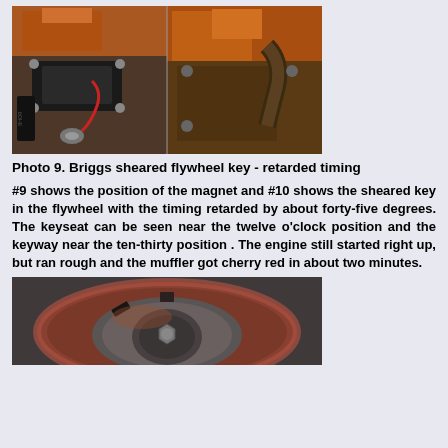[Figure (photo): Two side-by-side photos showing Briggs engine components: left shows ignition module/coil with red wire and bolts, right shows rusty engine with exhaust pipe]
Photo 9. Briggs sheared flywheel key - retarded timing
#9 shows the position of the magnet and #10 shows the sheared key in the flywheel with the timing retarded by about forty-five degrees. The keyseat can be seen near the twelve o'clock position and the keyway near the ten-thirty position . The engine still started right up, but ran rough and the muffler got cherry red in about two minutes.
[Figure (photo): Close-up photo of a flywheel showing the sheared key, keyseat near twelve o'clock position and keyway near ten-thirty position, with red/rust coloring visible]